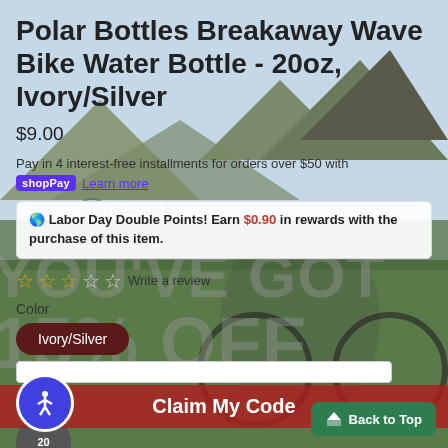Polar Bottles Breakaway Wave Bike Water Bottle - 20oz, Ivory/Silver
$9.00
Pay in 4 interest-free installments for orders over $50 with
shopPay  Learn more
🌎 Labor Day Double Points! Earn $0.90 in rewards with the purchase of this item.
☆☆☆☆☆ Write a review
Color
Ivory/Silver
Size
20oz
Claim My Code
Back to Top